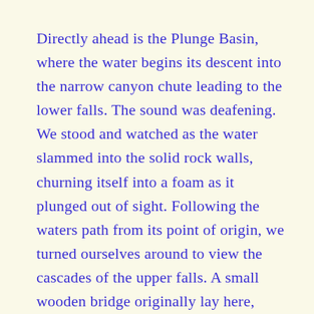Directly ahead is the Plunge Basin, where the water begins its descent into the narrow canyon chute leading to the lower falls. The sound was deafening. We stood and watched as the water slammed into the solid rock walls, churning itself into a foam as it plunged out of sight. Following the waters path from its point of origin, we turned ourselves around to view the cascades of the upper falls. A small wooden bridge originally lay here, bridging the gap between the overlook and upper falls, but the area is currently closed to visitors. Still, dozens of people found their way across shore to get a closer look at the cascading river as it roared towards them.